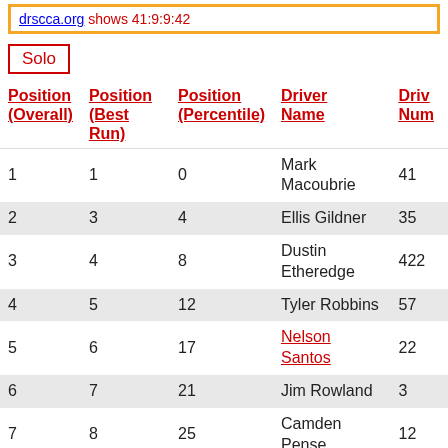drscca.org shows 41:9:9:42
Solo
| Position (Overall) | Position (Best Run) | Position (Percentile) | Driver Name | Driver Number |
| --- | --- | --- | --- | --- |
| 1 | 1 | 0 | Mark Macoubrie | 41 |
| 2 | 3 | 4 | Ellis Gildner | 35 |
| 3 | 4 | 8 | Dustin Etheredge | 422 |
| 4 | 5 | 12 | Tyler Robbins | 57 |
| 5 | 6 | 17 | Nelson Santos | 22 |
| 6 | 7 | 21 | Jim Rowland | 3 |
| 7 | 8 | 25 | Camden Pense | 12 |
| 8 | 9 | 29 | Brady Loretz | 11 |